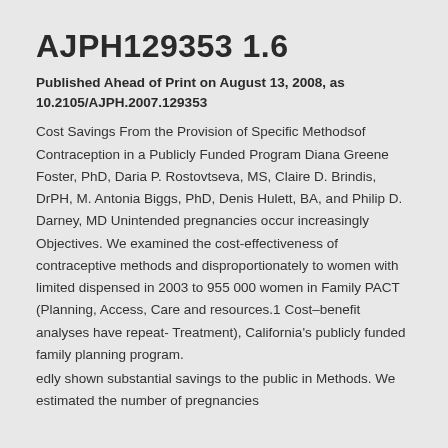AJPH129353 1.6
Published Ahead of Print on August 13, 2008, as 10.2105/AJPH.2007.129353
Cost Savings From the Provision of Specific Methodsof Contraception in a Publicly Funded Program Diana Greene Foster, PhD, Daria P. Rostovtseva, MS, Claire D. Brindis, DrPH, M. Antonia Biggs, PhD, Denis Hulett, BA, and Philip D. Darney, MD Unintended pregnancies occur increasingly Objectives. We examined the cost-effectiveness of contraceptive methods and disproportionately to women with limited dispensed in 2003 to 955 000 women in Family PACT (Planning, Access, Care and resources.1 Cost–benefit analyses have repeat- Treatment), California's publicly funded family planning program.
edly shown substantial savings to the public in Methods. We estimated the number of pregnancies